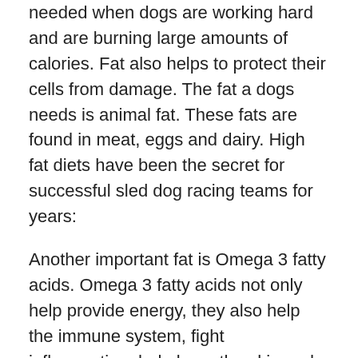needed when dogs are working hard and are burning large amounts of calories. Fat also helps to protect their cells from damage. The fat a dogs needs is animal fat. These fats are found in meat, eggs and dairy. High fat diets have been the secret for successful sled dog racing teams for years:
Another important fat is Omega 3 fatty acids. Omega 3 fatty acids not only help provide energy, they also help the immune system, fight inflammation, help keep the skin and coat healthy and are heart, liver and renal protective. This essential fatty acid is hard to find in foods and breaks down easily when exposed to heat, light or air. I would recommend using fish oil capsules and give one 1000 mg capsule per 10-20 lbs of body